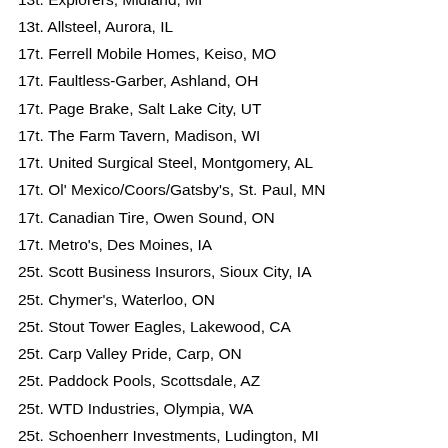13t. Explorers, Midland, MI
13t. Allsteel, Aurora, IL
17t. Ferrell Mobile Homes, Keiso, MO
17t. Faultless-Garber, Ashland, OH
17t. Page Brake, Salt Lake City, UT
17t. The Farm Tavern, Madison, WI
17t. United Surgical Steel, Montgomery, AL
17t. Ol' Mexico/Coors/Gatsby's, St. Paul, MN
17t. Canadian Tire, Owen Sound, ON
17t. Metro's, Des Moines, IA
25t. Scott Business Insurors, Sioux City, IA
25t. Chymer's, Waterloo, ON
25t. Stout Tower Eagles, Lakewood, CA
25t. Carp Valley Pride, Carp, ON
25t. Paddock Pools, Scottsdale, AZ
25t. WTD Industries, Olympia, WA
25t. Schoenherr Investments, Ludington, MI
25t. Softball Club, New Martinsville, WV